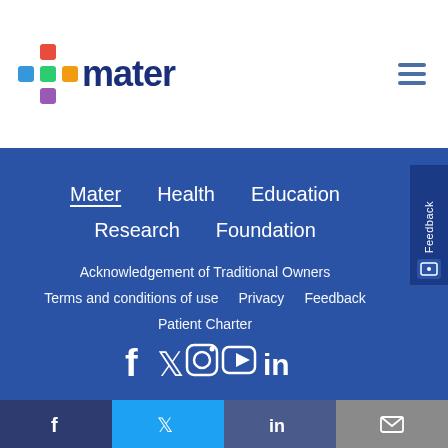[Figure (logo): Mater logo with colorful plus sign and dark blue 'mater' text]
Mater | Health | Education | Research | Foundation
Acknowledgement of Traditional Owners
Terms and conditions of use | Privacy | Feedback
Patient Charter
[Figure (infographic): Social media icons row: Facebook, Twitter, Instagram, YouTube, LinkedIn]
[Figure (infographic): Bottom bar with Facebook, Twitter, LinkedIn, Email icons]